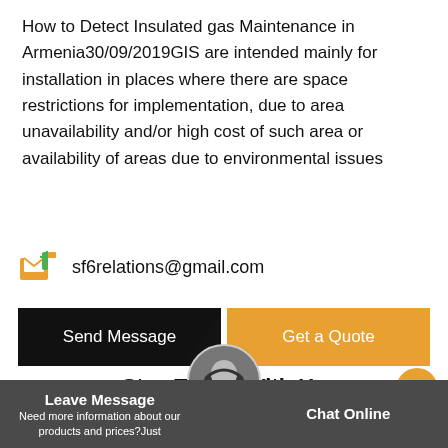How to Detect Insulated gas Maintenance in Armenia30/09/2019GIS are intended mainly for installation in places where there are space restrictions for implementation, due to area unavailability and/or high cost of such area or availability of areas due to environmental issues
sf6relations@gmail.com
Send Message
Get a Quote
Stay Touch With Us
Leave Message  Chat Online  Need more information about our products and prices?Just